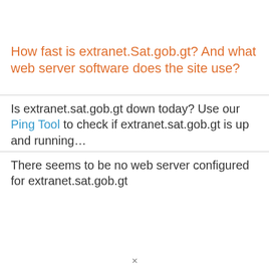How fast is extranet.Sat.gob.gt? And what web server software does the site use?
Is extranet.sat.gob.gt down today? Use our Ping Tool to check if extranet.sat.gob.gt is up and running…
There seems to be no web server configured for extranet.sat.gob.gt